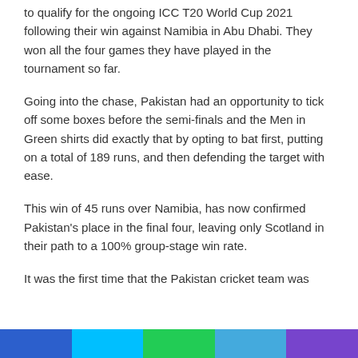to qualify for the ongoing ICC T20 World Cup 2021 following their win against Namibia in Abu Dhabi. They won all the four games they have played in the tournament so far.
Going into the chase, Pakistan had an opportunity to tick off some boxes before the semi-finals and the Men in Green shirts did exactly that by opting to bat first, putting on a total of 189 runs, and then defending the target with ease.
This win of 45 runs over Namibia, has now confirmed Pakistan's place in the final four, leaving only Scotland in their path to a 100% group-stage win rate.
It was the first time that the Pakistan cricket team was